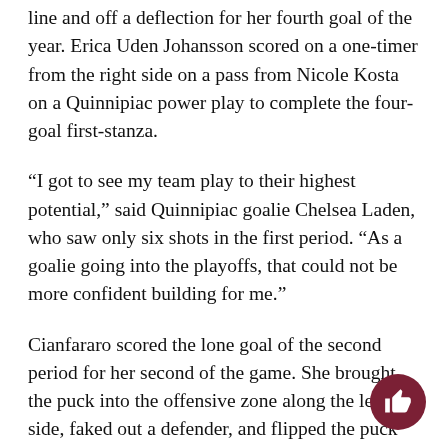line and off a deflection for her fourth goal of the year. Erica Uden Johansson scored on a one-timer from the right side on a pass from Nicole Kosta on a Quinnipiac power play to complete the four-goal first-stanza.
“I got to see my team play to their highest potential,” said Quinnipiac goalie Chelsea Laden, who saw only six shots in the first period. “As a goalie going into the playoffs, that could not be more confident building for me.”
Cianfararo scored the lone goal of the second period for her second of the game. She brought the puck into the offensive zone along the left side, faked out a defender, and flipped the puck over Newell on the shortside to put Quinnipiac ahead 5-0.
Cianfararo said there was one thing on her mind when she met the defender.
“Toe drag, for sure,” Cianfararo said. “It’s my specialty. I